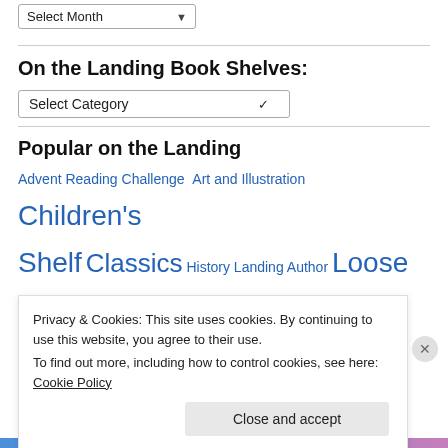Select Month (dropdown)
On the Landing Book Shelves:
Select Category (dropdown)
Popular on the Landing
Advent Reading Challenge
Art and Illustration
Children's Shelf
Classics
History
Landing Author
Loose Leaves
Poetry in June
Privacy & Cookies: This site uses cookies. By continuing to use this website, you agree to their use. To find out more, including how to control cookies, see here: Cookie Policy
Close and accept